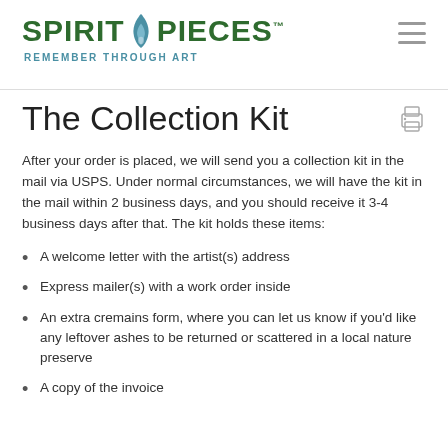[Figure (logo): Spirit Pieces logo with flame icon and tagline 'Remember Through Art']
The Collection Kit
After your order is placed, we will send you a collection kit in the mail via USPS. Under normal circumstances, we will have the kit in the mail within 2 business days, and you should receive it 3-4 business days after that. The kit holds these items:
A welcome letter with the artist(s) address
Express mailer(s) with a work order inside
An extra cremains form, where you can let us know if you'd like any leftover ashes to be returned or scattered in a local nature preserve
A copy of the invoice